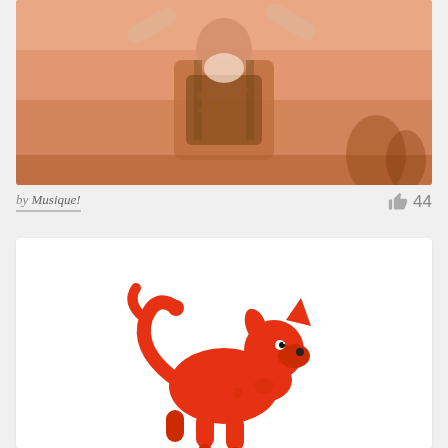[Figure (photo): Sepia-toned photograph of a person with arms raised, wearing suspenders and a backpack, standing outdoors in a warm orange-hued setting]
by Musique!  👍 44
[Figure (illustration): Red cartoon illustration of a stylized dog or animal figure on a white background card]